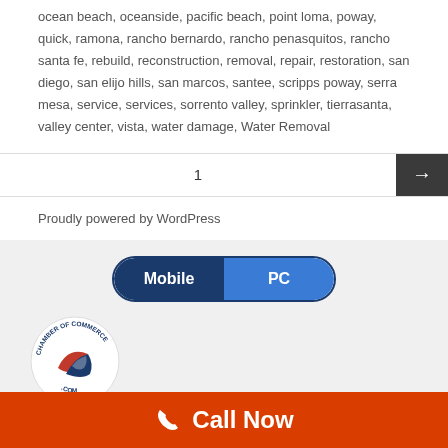ocean beach, oceanside, pacific beach, point loma, poway, quick, ramona, rancho bernardo, rancho penasquitos, rancho santa fe, rebuild, reconstruction, removal, repair, restoration, san diego, san elijo hills, san marcos, santee, scripps poway, serra mesa, service, services, sorrento valley, sprinkler, tierrasanta, valley center, vista, water damage, Water Removal
1
Proudly powered by WordPress
[Figure (other): Mobile/PC toggle button with dark navy 'Mobile' label on left and blue 'PC' label on right, pill-shaped]
[Figure (logo): Chamber of Commerce .com circular badge logo with blue and red US swoosh design]
Call Now